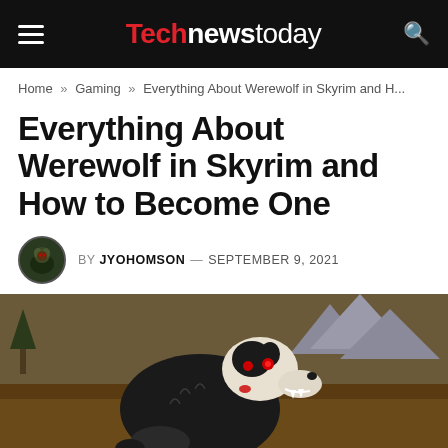Tech news today
Home » Gaming » Everything About Werewolf in Skyrim and H...
Everything About Werewolf in Skyrim and How to Become One
BY JYOHOMSON — SEPTEMBER 9, 2021
[Figure (photo): A werewolf from Skyrim running through a field, snarling at the camera, with mountains and trees in the background]